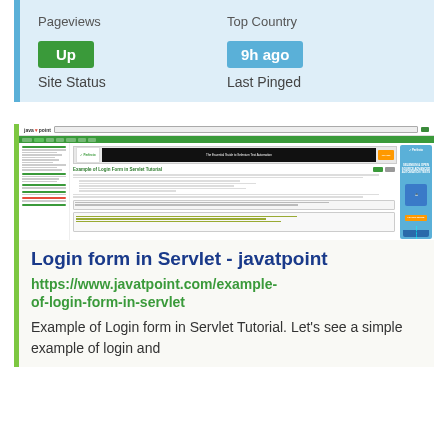|  |  |
| --- | --- |
| Up | 9h ago |
| Site Status | Last Pinged |
[Figure (screenshot): Screenshot of javatpoint.com showing 'Example of Login Form in Servlet Tutorial' page with sidebar navigation, ad banner, and code content]
Login form in Servlet - javatpoint
https://www.javatpoint.com/example-of-login-form-in-servlet
Example of Login form in Servlet Tutorial. Let's see a simple example of login and